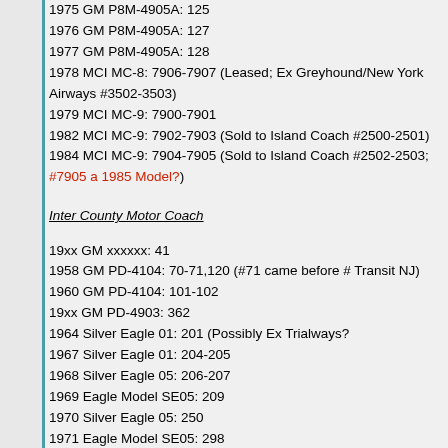1975 GM P8M-4905A: 125
1976 GM P8M-4905A: 127
1977 GM P8M-4905A: 128
1978 MCI MC-8: 7906-7907 (Leased; Ex Greyhound/New York Airways #3502-3503)
1979 MCI MC-9: 7900-7901
1982 MCI MC-9: 7902-7903 (Sold to Island Coach #2500-2501)
1984 MCI MC-9: 7904-7905 (Sold to Island Coach #2502-2503; #7905 a 1985 Model?)
Inter County Motor Coach
19xx GM xxxxxx: 41
1958 GM PD-4104: 70-71,120 (#71 came before # Transit NJ)
1960 GM PD-4104: 101-102
19xx GM PD-4903: 362
1964 Silver Eagle 01: 201 (Possibly Ex Trialways?)
1967 Silver Eagle 01: 204-205
1968 Silver Eagle 05: 206-207
1969 Eagle Model SE05: 209
1970 Silver Eagle 05: 250
1971 Eagle Model SE05: 298
1972 GM P8M-4905A: 290
1973 Silver Eagle 05: 202